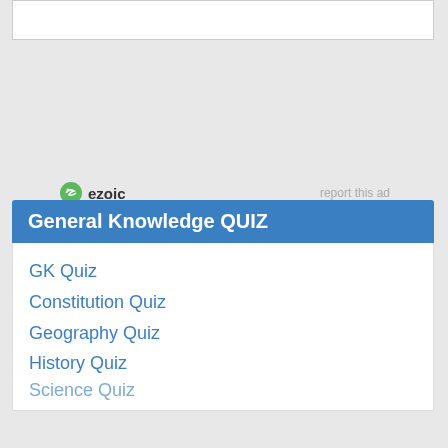[Figure (other): White ad banner area at top of page]
[Figure (logo): Ezoic logo with green circular icon and bold text 'ezoic', with 'report this ad' link on the right]
General Knowledge QUIZ
GK Quiz
Constitution Quiz
Geography Quiz
History Quiz
Science Quiz